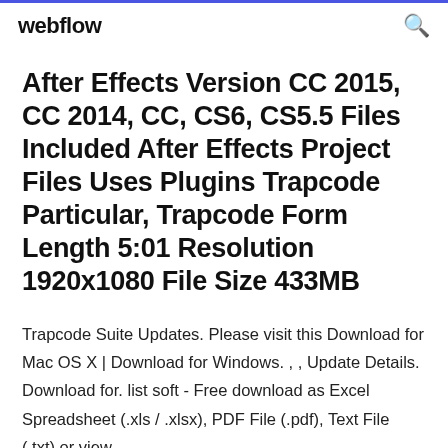webflow
After Effects Version CC 2015, CC 2014, CC, CS6, CS5.5 Files Included After Effects Project Files Uses Plugins Trapcode Particular, Trapcode Form Length 5:01 Resolution 1920x1080 File Size 433MB
Trapcode Suite Updates. Please visit this Download for Mac OS X | Download for Windows. , , Update Details. Download for. list soft - Free download as Excel Spreadsheet (.xls / .xlsx), PDF File (.pdf), Text File (.txt) or view